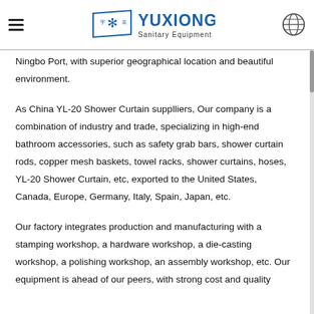Yuxiong Sanitary Equipment
Ningbo Port, with superior geographical location and beautiful environment.
As China YL-20 Shower Curtain supplliers, Our company is a combination of industry and trade, specializing in high-end bathroom accessories, such as safety grab bars, shower curtain rods, copper mesh baskets, towel racks, shower curtains, hoses, YL-20 Shower Curtain, etc, exported to the United States, Canada, Europe, Germany, Italy, Spain, Japan, etc.
Our factory integrates production and manufacturing with a stamping workshop, a hardware workshop, a die-casting workshop, a polishing workshop, an assembly workshop, etc. Our equipment is ahead of our peers, with strong cost and quality